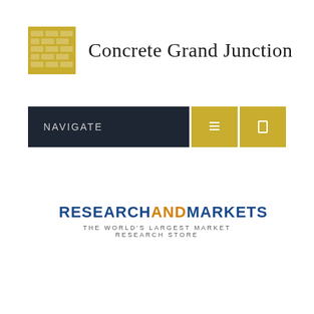[Figure (logo): Concrete Grand Junction logo — brick wall icon in gold/yellow with site name in serif font]
[Figure (screenshot): Navigation bar with dark navy background, NAVIGATE text in grey, two gold square icon buttons on the right]
[Figure (logo): ResearchAndMarkets logo — RESEARCH and MARKETS in dark blue bold, AND in orange bold, tagline THE WORLD'S LARGEST MARKET RESEARCH STORE in grey]